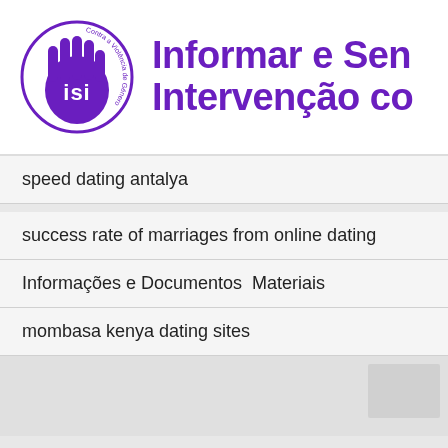[Figure (logo): ISI logo — purple hand with 'isi' text inside a circle, with text 'Contra a Violência de Género' around the circle]
Informar e Sen
Intervenção co
speed dating antalya
success rate of marriages from online dating
Informações e Documentos          Materiais
mombasa kenya dating sites